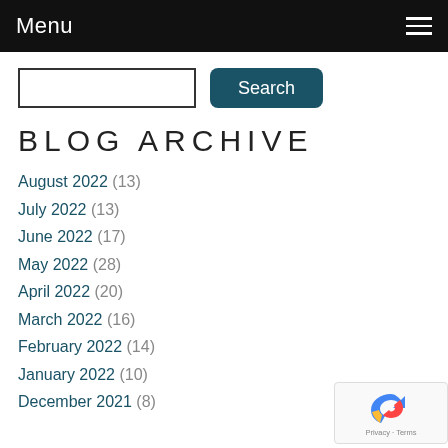Menu
Search
BLOG ARCHIVE
August 2022 (13)
July 2022 (13)
June 2022 (17)
May 2022 (28)
April 2022 (20)
March 2022 (16)
February 2022 (14)
January 2022 (10)
December 2021 (8)